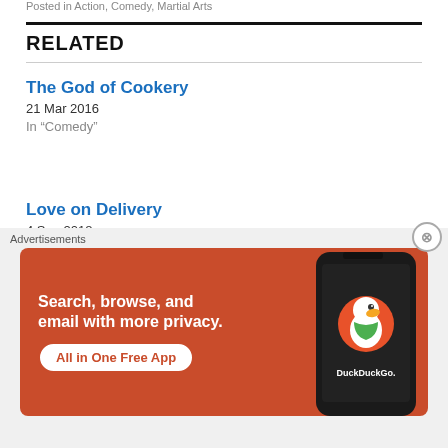Posted in Action, Comedy, Martial Arts
RELATED
The God of Cookery
21 Mar 2016
In "Comedy"
Love on Delivery
4 Sep 2018
In "Comedy"
Justice, My Foot!
1 Jun 2021
Advertisements
[Figure (screenshot): DuckDuckGo advertisement banner: orange background with text 'Search, browse, and email with more privacy. All in One Free App' and a phone showing DuckDuckGo logo]